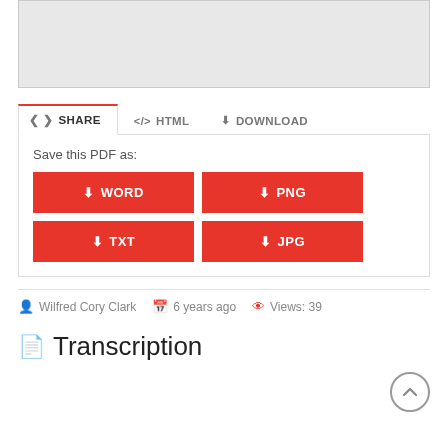[Figure (screenshot): Gray rectangular placeholder box at the top of the page]
SHARE   </> HTML   ⬇ DOWNLOAD
Save this PDF as:
⬇ WORD
⬇ PNG
⬇ TXT
⬇ JPG
Wilfred Cory Clark   6 years ago   Views: 39
Transcription